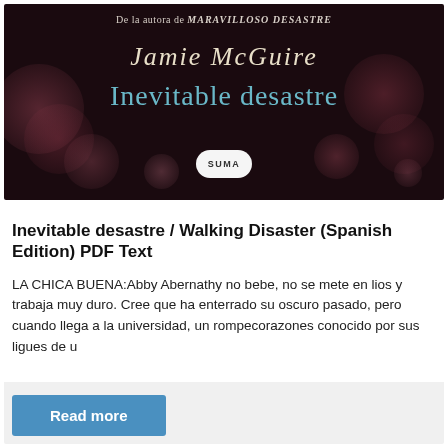[Figure (illustration): Book cover for 'Inevitable desastre' by Jamie McGuire. Dark background with bokeh bokeh light circles in pink/purple tones. Text reads 'De la autora de MARAVILLOSO DESASTRE' at top, then author name 'Jamie McGuire' in italic gold/cream serif font, then title 'Inevitable desastre' in teal/cyan serif font. SUMA publisher logo at bottom center.]
Inevitable desastre / Walking Disaster (Spanish Edition) PDF Text
LA CHICA BUENA:Abby Abernathy no bebe, no se mete en lios y trabaja muy duro. Cree que ha enterrado su oscuro pasado, pero cuando llega a la universidad, un rompecorazones conocido por sus ligues de u